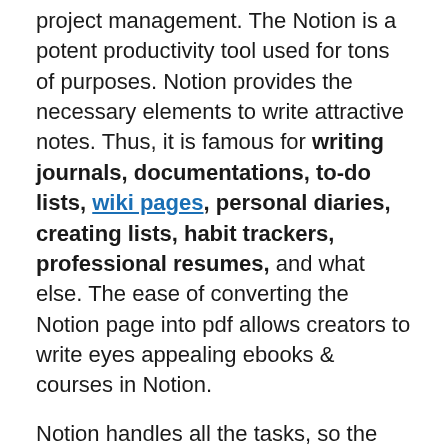project management. The Notion is a potent productivity tool used for tons of purposes. Notion provides the necessary elements to write attractive notes. Thus, it is famous for writing journals, documentations, to-do lists, wiki pages, personal diaries, creating lists, habit trackers, professional resumes, and what else. The ease of converting the Notion page into pdf allows creators to write eyes appealing ebooks & courses in Notion.
Notion handles all the tasks, so the user doesn't have to use another platform for another job. You can create many pages in Notion and link the pages with each other, which makes Notion suitable for blogging.The Notion also provides a